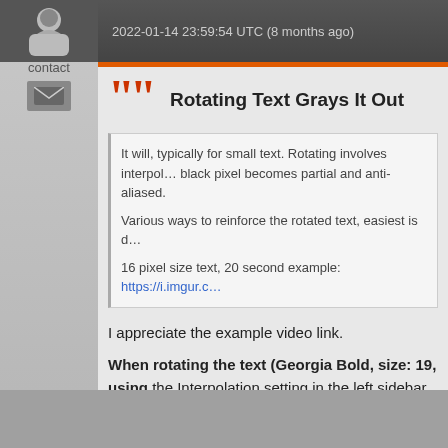2022-01-14 23:59:54 UTC (8 months ago)
Rotating Text Grays It Out
It will, typically for small text. Rotating involves interpolation, so every black pixel becomes partial and anti-aliased.

Various ways to reinforce the rotated text, easiest is d…

16 pixel size text, 20 second example: https://i.imgur.c…
I appreciate the example video link.

When rotating the text (Georgia Bold, size: 19, using the Interpolation setting in the left sidebar. This work… and merging were not needed.

Thanks!